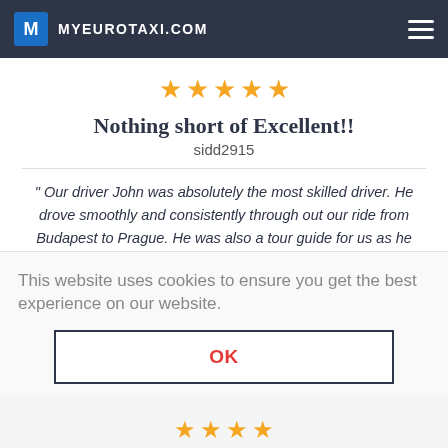MYEUROTAXI.COM
[Figure (other): Five gold star rating icons]
Nothing short of Excellent!!
sidd2915
" Our driver John was absolutely the most skilled driver. He drove smoothly and consistently through out our ride from Budapest to Prague. He was also a tour guide for us as he shared his knowledge thro ...read more
This website uses cookies to ensure you get the best experience on our website.
OK
[Figure (other): Four gold star rating icons at bottom]